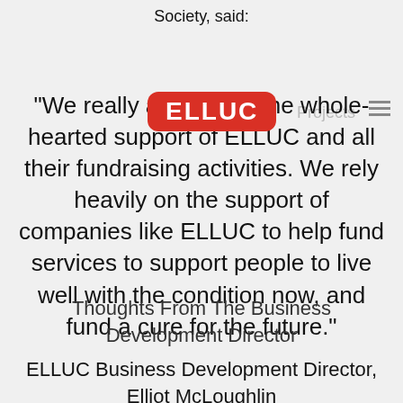Society, said:
[Figure (logo): ELLUC red rounded rectangle logo with white text 'ELLUC', with greyed-out 'Projects' text to the right and a hamburger menu icon on the far right]
"We really appreciate the whole-hearted support of ELLUC and all their fundraising activities. We rely heavily on the support of companies like ELLUC to help fund services to support people to live well with the condition now, and fund a cure for the future."
Thoughts From The Business Development Director
ELLUC Business Development Director, Elliot McLoughlin